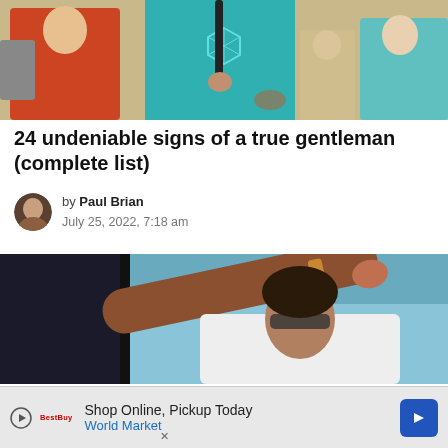[Figure (photo): Group of people walking outdoors in a crowd; central person wearing a teal t-shirt with a geometric hexagon graphic and a bag strap; person on left in red dress; person on right in teal shorts]
24 undeniable signs of a true gentleman (complete list)
by Paul Brian
July 25, 2022, 7:18 am
[Figure (photo): Close-up of two people; one person in dark clothing reaching out an arm toward another person who is wearing a white top and appears to be looking up; blue sky in background]
Shop Online, Pickup Today
World Market